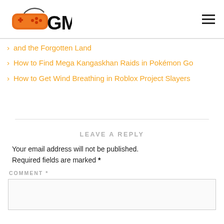GM (gaming website logo with hamburger menu)
and the Forgotten Land
How to Find Mega Kangaskhan Raids in Pokémon Go
How to Get Wind Breathing in Roblox Project Slayers
LEAVE A REPLY
Your email address will not be published.
Required fields are marked *
COMMENT *